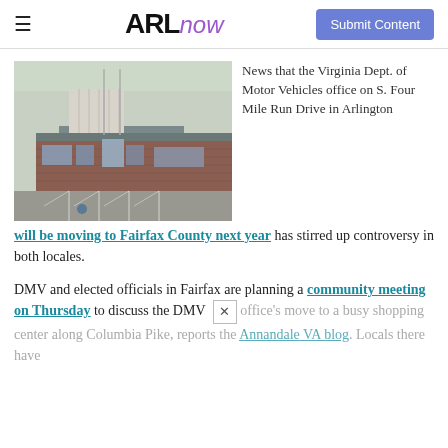ARL now — Submit Content
[Figure (photo): Exterior of a brick building with a large sloped metal roof, two flagpoles in front, and a parking lot — a Virginia DMV office on S. Four Mile Run Drive in Arlington.]
News that the Virginia Dept. of Motor Vehicles office on S. Four Mile Run Drive in Arlington will be moving to Fairfax County next year has stirred up controversy in both locales.
DMV and elected officials in Fairfax are planning a community meeting on Thursday to discuss the DMV office's move to a busy shopping center along Columbia Pike, reports the Annandale VA blog. Locals there have